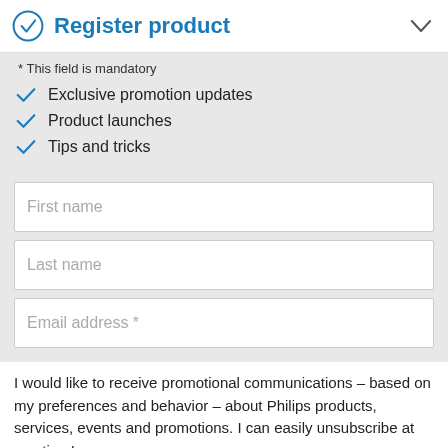Register product
* This field is mandatory
Exclusive promotion updates
Product launches
Tips and tricks
First name
Last name
Email address *
I would like to receive promotional communications – based on my preferences and behavior – about Philips products, services, events and promotions. I can easily unsubscribe at any time!